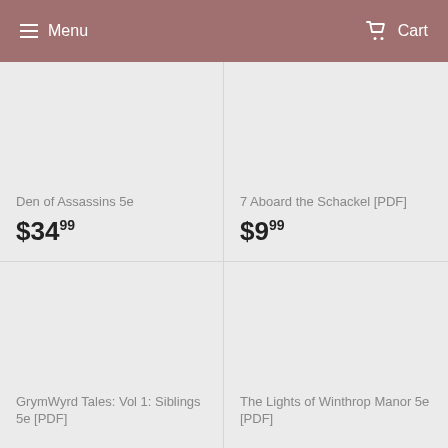Menu | Cart
Den of Assassins 5e
$34.99
7 Aboard the Schackel [PDF]
$9.99
GrymWyrd Tales: Vol 1: Siblings 5e [PDF]
The Lights of Winthrop Manor 5e [PDF]